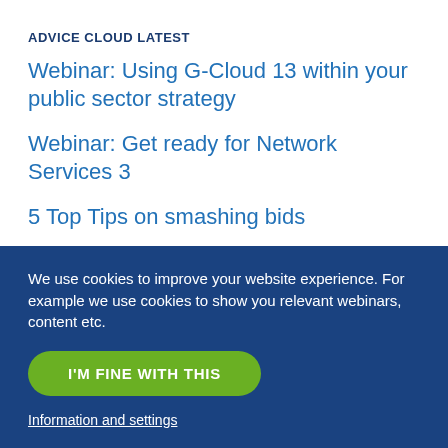ADVICE CLOUD LATEST
Webinar: Using G-Cloud 13 within your public sector strategy
Webinar: Get ready for Network Services 3
5 Top Tips on smashing bids
[Infographic] Top Tips for Finding Public Sector Opportunities
G-Cloud 13 and Digital Outcomes 6 delayed
We use cookies to improve your website experience. For example we use cookies to show you relevant webinars, content etc.
I'M FINE WITH THIS
Information and settings